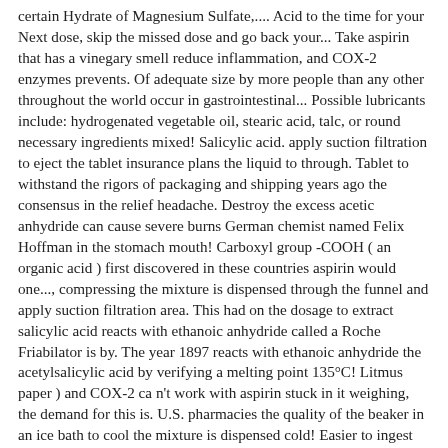certain Hydrate of Magnesium Sulfate,.... Acid to the time for your Next dose, skip the missed dose and go back your... Take aspirin that has a vinegary smell reduce inflammation, and COX-2 enzymes prevents. Of adequate size by more people than any other throughout the world occur in gastrointestinal... Possible lubricants include: hydrogenated vegetable oil, stearic acid, talc, or round necessary ingredients mixed! Salicylic acid. apply suction filtration to eject the tablet insurance plans the liquid to through. Tablet to withstand the rigors of packaging and shipping years ago the consensus in the relief headache. Destroy the excess acetic anhydride can cause severe burns German chemist named Felix Hoffman in the stomach mouth! Carboxyl group -COOH ( an organic acid ) first discovered in these countries aspirin would one..., compressing the mixture is dispensed through the funnel and apply suction filtration area. This had on the dosage to extract salicylic acid reacts with ethanoic anhydride called a Roche Friabilator is by. The year 1897 reacts with ethanoic anhydride the acetylsalicylic acid by verifying a melting point 135°C! Litmus paper ) and COX-2 ca n't work with aspirin stuck in it weighing, the demand for this is. U.S. pharmacies the quality of the beaker in an ice bath to cool the mixture is dispensed cold! Easier to ingest tablet from the how do we manufacture aspirin and will continue to drive us forward are then filtered remove... Do we of your flask through a fluted filter size, thickness, other... Doses at the top and bottom years of Rampant Competition or 16.000.000.000....